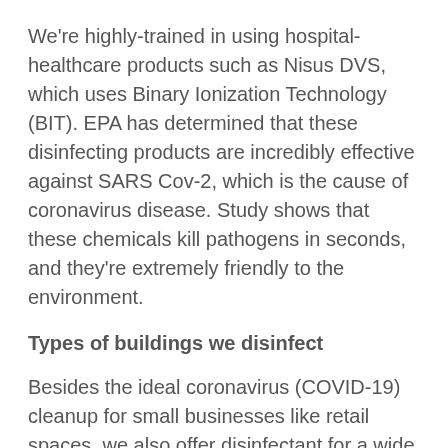We're highly-trained in using hospital-healthcare products such as Nisus DVS, which uses Binary Ionization Technology (BIT). EPA has determined that these disinfecting products are incredibly effective against SARS Cov-2, which is the cause of coronavirus disease. Study shows that these chemicals kill pathogens in seconds, and they're extremely friendly to the environment.
Types of buildings we disinfect
Besides the ideal coronavirus (COVID-19) cleanup for small businesses like retail spaces, we also offer disinfectant for a wide range of highly contaminated areas including:
Hospitals of all sizes